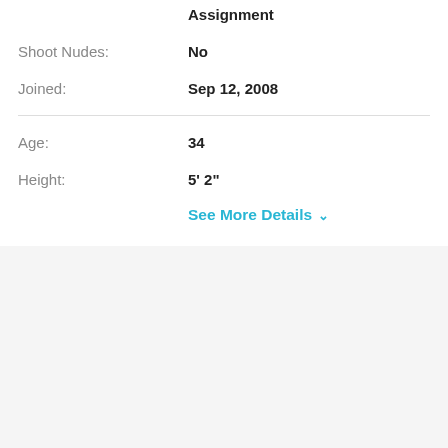Assignment
Shoot Nudes: No
Joined: Sep 12, 2008
Age: 34
Height: 5' 2"
See More Details